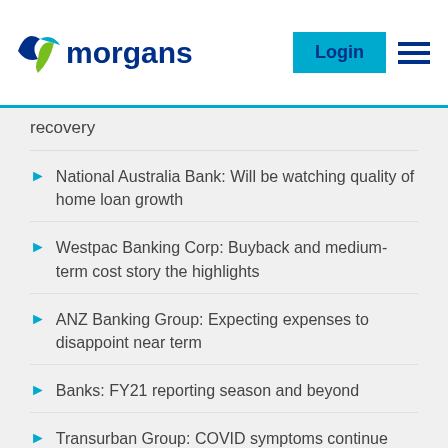morgans
recovery
National Australia Bank: Will be watching quality of home loan growth
Westpac Banking Corp: Buyback and medium-term cost story the highlights
ANZ Banking Group: Expecting expenses to disappoint near term
Banks: FY21 reporting season and beyond
Transurban Group: COVID symptoms continue